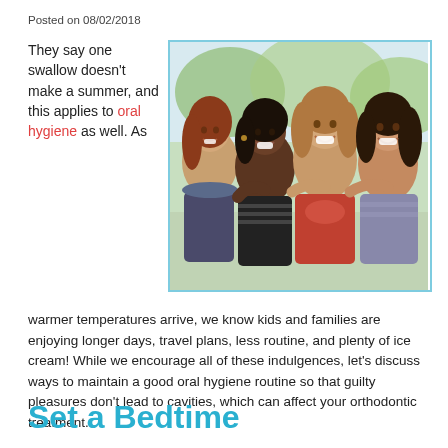Posted on 08/02/2018
They say one swallow doesn’t make a summer, and this applies to oral hygiene as well. As
[Figure (photo): Four smiling teenage girls posing together outdoors, with trees in the background.]
warmer temperatures arrive, we know kids and families are enjoying longer days, travel plans, less routine, and plenty of ice cream! While we encourage all of these indulgences, let’s discuss ways to maintain a good oral hygiene routine so that guilty pleasures don’t lead to cavities, which can affect your orthodontic treatment.
Set a Bedtime